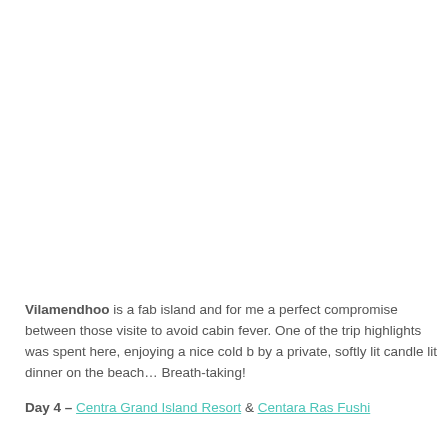Vilamendhoo is a fab island and for me a perfect compromise between those visite... to avoid cabin fever. One of the trip highlights was spent here, enjoying a nice cold b... by a private, softly lit candle lit dinner on the beach… Breath-taking!
Day 4 – Centra Grand Island Resort & Centara Ras Fushi